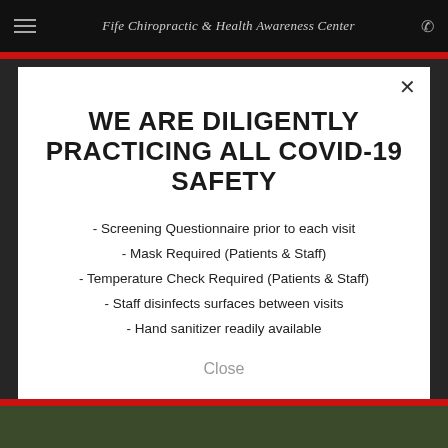Fife Chiropractic & Health Awareness Center
WE ARE DILIGENTLY PRACTICING ALL COVID-19 SAFETY
- Screening Questionnaire prior to each visit
- Mask Required (Patients & Staff)
- Temperature Check Required (Patients & Staff)
- Staff disinfects surfaces between visits
- Hand sanitizer readily available
Close